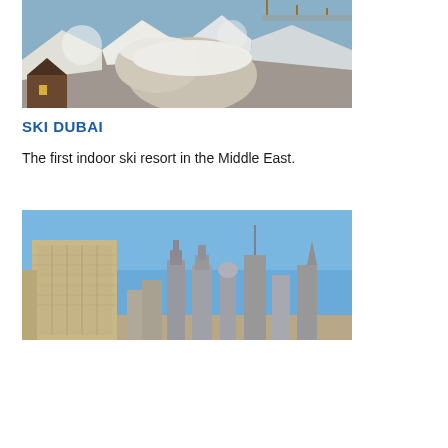[Figure (photo): Indoor ski resort with snow-covered rocks and a chalet-style building, Ski Dubai]
SKI DUBAI
The first indoor ski resort in the Middle East.
[Figure (photo): Dubai skyline with tall modern skyscrapers and buildings under a clear blue sky]